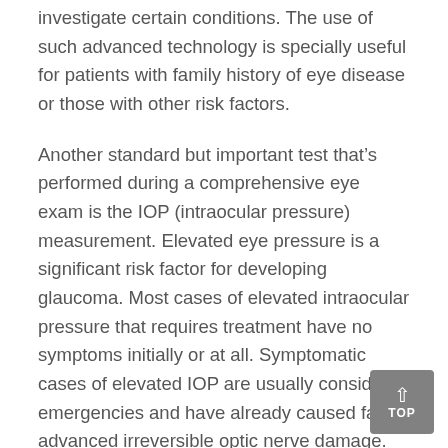investigate certain conditions. The use of such advanced technology is specially useful for patients with family history of eye disease or those with other risk factors.
Another standard but important test that’s performed during a comprehensive eye exam is the IOP (intraocular pressure) measurement. Elevated eye pressure is a significant risk factor for developing glaucoma. Most cases of elevated intraocular pressure that requires treatment have no symptoms initially or at all. Symptomatic cases of elevated IOP are usually considered emergencies and have already caused far advanced irreversible optic nerve damage. Such damage to the optic nerve is